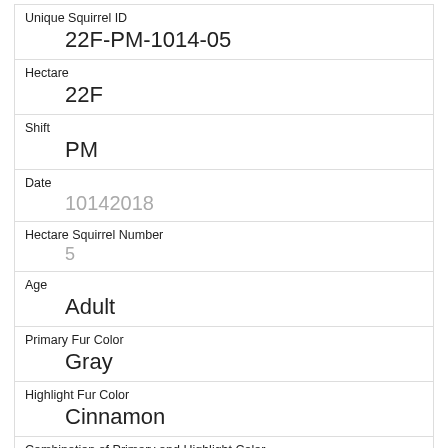| Unique Squirrel ID | 22F-PM-1014-05 |
| Hectare | 22F |
| Shift | PM |
| Date | 10142018 |
| Hectare Squirrel Number | 5 |
| Age | Adult |
| Primary Fur Color | Gray |
| Highlight Fur Color | Cinnamon |
| Combination of Primary and Highlight Color | Gray+Cinnamon |
| Color notes |  |